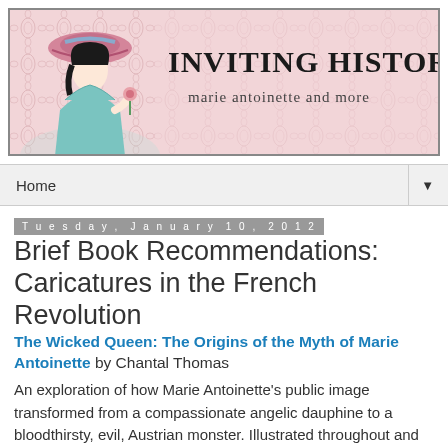[Figure (illustration): Banner for 'Inviting History' blog featuring a Victorian-style woman illustration on pink damask background with blog title and subtitle 'marie antoinette and more']
Home
Tuesday, January 10, 2012
Brief Book Recommendations: Caricatures in the French Revolution
The Wicked Queen: The Origins of the Myth of Marie Antoinette by Chantal Thomas
An exploration of how Marie Antoinette's public image transformed from a compassionate angelic dauphine to a bloodthirsty, evil, Austrian monster. Illustrated throughout and includes some translations of printed libels.